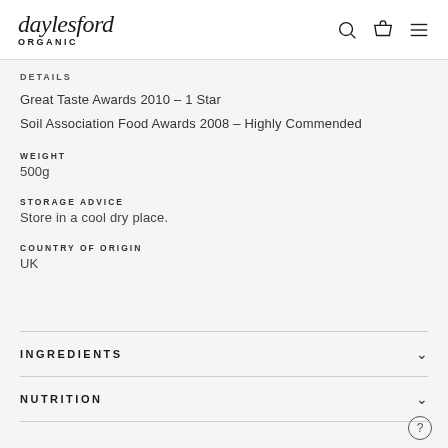daylesford ORGANIC
DETAILS
Great Taste Awards 2010 – 1 Star
Soil Association Food Awards 2008 – Highly Commended
WEIGHT
500g
STORAGE ADVICE
Store in a cool dry place.
COUNTRY OF ORIGIN
UK
INGREDIENTS
NUTRITION